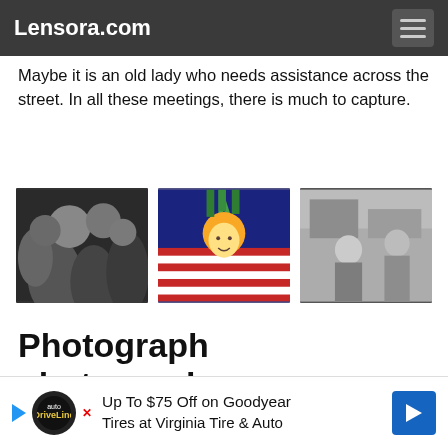Lensora.com
Maybe it is an old lady who needs assistance across the street. In all these meetings, there is much to capture.
[Figure (photo): Three street photography images in a row: (1) black and white crowd photo, (2) colorful photo of woman in Statue of Liberty costume, (3) black and white photo of two men indoors]
Photograph photographers
Maybe there are more tourists than you in Funchal? Maybe there are more of you who stand and take pictures of the exact same buildings and sights? Try pointing the camera at those who also take pictures and see if you also
[Figure (other): Advertisement banner: Up To $75 Off on Goodyear Tires at Virginia Tire & Auto]